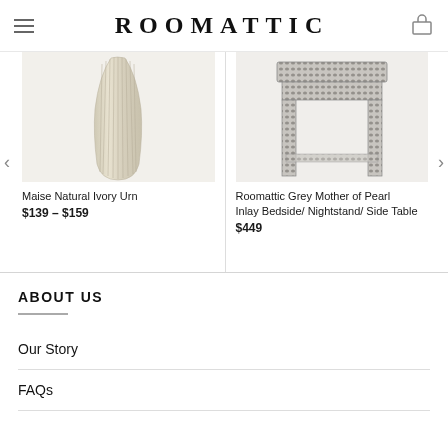ROOMATTIC
[Figure (photo): Maise Natural Ivory Urn - a tall ribbed ivory/cream ceramic urn vase]
Maise Natural Ivory Urn
$139 – $159
[Figure (photo): Roomattic Grey Mother of Pearl Inlay Bedside/Nightstand/Side Table - grey floral inlay patterned side table]
Roomattic Grey Mother of Pearl Inlay Bedside/ Nightstand/ Side Table
$449
ABOUT US
Our Story
FAQs